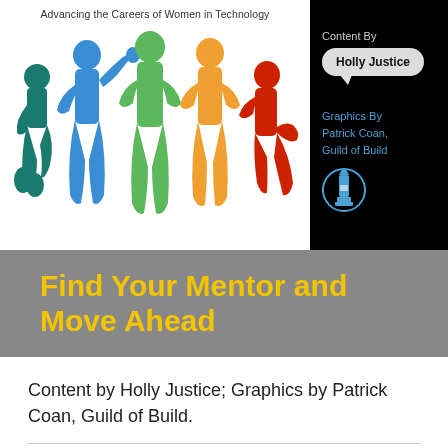[Figure (illustration): Cover image showing five colorful silhouettes of women in various poses (teal, blue, green, orange, red) on a white background, with text 'Advancing the Careers of Women in Technology'. Right side black panel shows 'Content By Holly Justice' in a speech bubble and 'Graphics By Patrick Coan, Guild of Build' with a lighthouse icon.]
Find Your Mentor and Move Ahead
Content by Holly Justice; Graphics by Patrick Coan, Guild of Build.